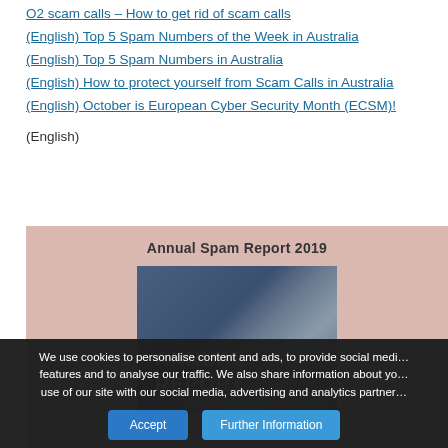O2 scam calls – How to get rid of scam calls
(English) Top 5 Spam Numbers of the Week in Australia
(English) Top 5 Spam Numbers in Australia
(English) How to protect yourself from Scam Calls in Australia
(English) October is European Cyber Security Month (ECSM)!
(English)
[Figure (illustration): Annual Spam Report 2019 cover image showing a dark blue/grey gradient book cover with 'ANNUAL REPORT' text in white bold letters, set against a salmon/peach colored background with the title 'Annual Spam Report 2019' above it.]
We use cookies to personalise content and ads, to provide social media features and to analyse our traffic. We also share information about your use of our site with our social media, advertising and analytics partners